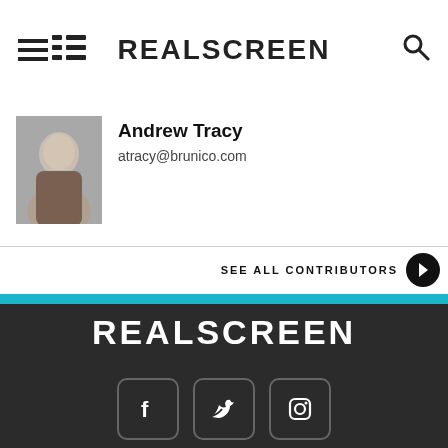REALSCREEN
[Figure (photo): Headshot photo of Andrew Tracy]
Andrew Tracy
atracy@brunico.com
SEE ALL CONTRIBUTORS
REALSCREEN
[Figure (illustration): Social media icons: Facebook, Twitter, Instagram]